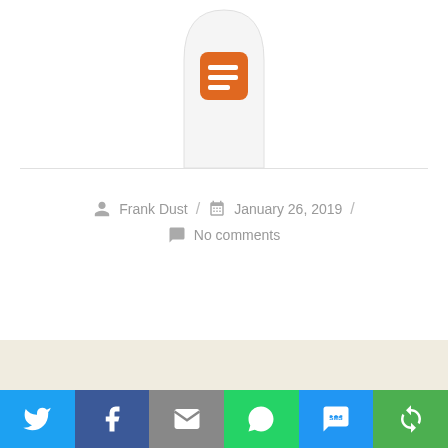[Figure (logo): Orange rounded-square icon with white horizontal lines (document/menu icon), displayed inside a gray arch shape at top center]
Frank Dust / January 26, 2019 / No comments
[Figure (screenshot): Search bar with orange search button on dark background, followed by social sharing buttons: Twitter (blue), Facebook (dark blue), Email (gray), WhatsApp (green), SMS (blue), Share (green)]